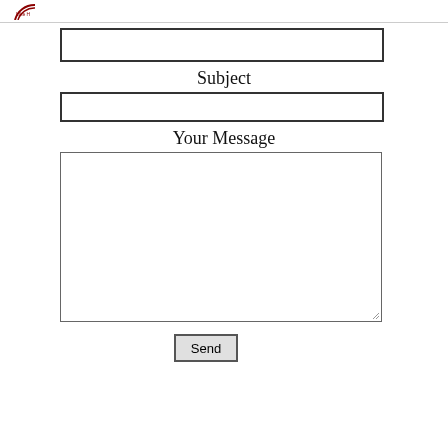[Figure (logo): Partial circular logo/badge visible at top left corner]
(input field - first, likely email or name)
Subject
(input field - subject)
Your Message
(textarea - message body)
Send